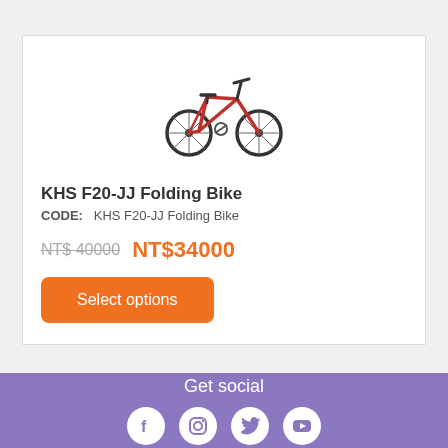[Figure (photo): Red folding bicycle (KHS F20-JJ Folding Bike) shown from the side]
KHS F20-JJ Folding Bike
CODE:   KHS F20-JJ Folding Bike
NTS 40000  NT$34000
Select options
Get social
[Figure (illustration): Social media icons: Facebook, Instagram, Twitter, YouTube]